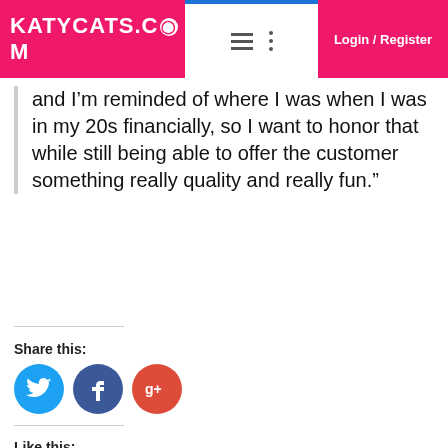KATYCATS.COM | Login / Register
and I’m reminded of where I was when I was in my 20s financially, so I want to honor that while still being able to offer the customer something really quality and really fun.”
Share this:
[Figure (other): Social share buttons: Twitter (blue circle), Facebook (dark blue circle), Google+ (red circle)]
Like this:
Loading...